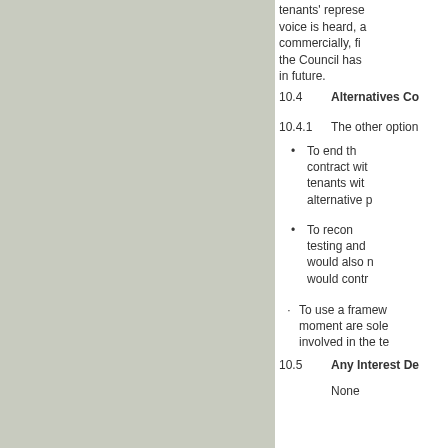tenants' representatives voice is heard, and commercially, financially the Council has ... in future.
10.4  Alternatives Co...
10.4.1  The other option...
To end the contract with tenants with alternative p...
To recon... testing and would also n... would contr...
To use a framework... moment are sole... involved in the te...
10.5  Any Interest De...
None
10.6  Reason for Exe...
None
10.7  Respective Dire...